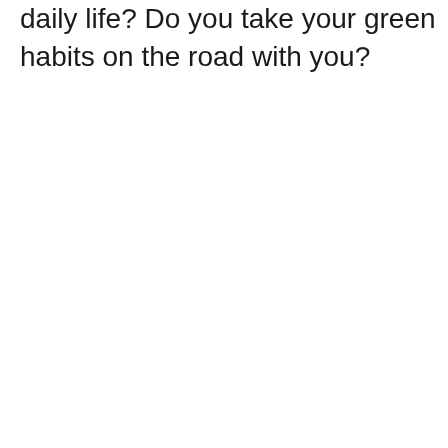daily life? Do you take your green habits on the road with you?